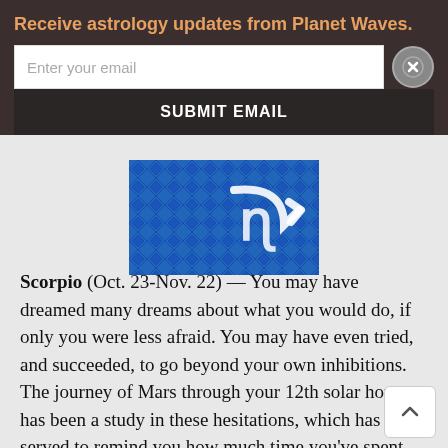Receive astrology updates from Planet Waves.
Enter your email
SUBMIT EMAIL
[Figure (screenshot): Partial blue image showing what appears to be a stylized horoscope symbol on a blue geometric background with an arrow/refresh icon]
Scorpio (Oct. 23-Nov. 22) — You may have dreamed many dreams about what you would do, if only you were less afraid. You may have even tried, and succeeded, to go beyond your own inhibitions. The journey of Mars through your 12th solar house has been a study in these hesitations, which has served to remind you how much time you've spent wondering if you were doing the right thing, or what might have happened if only things were some other way. It's